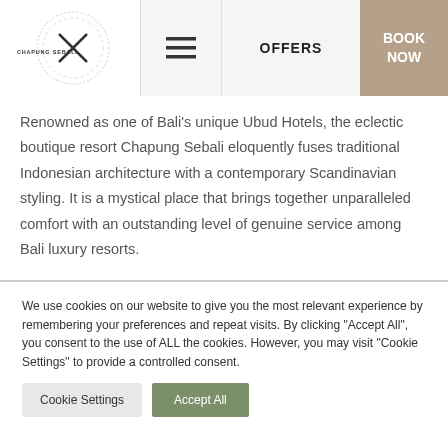[Figure (logo): Chapung Sebali logo with circular design and X mark]
OFFERS | BOOK NOW
Renowned as one of Bali's unique Ubud Hotels, the eclectic boutique resort Chapung Sebali eloquently fuses traditional Indonesian architecture with a contemporary Scandinavian styling. It is a mystical place that brings together unparalleled comfort with an outstanding level of genuine service among Bali luxury resorts.
We use cookies on our website to give you the most relevant experience by remembering your preferences and repeat visits. By clicking "Accept All", you consent to the use of ALL the cookies. However, you may visit "Cookie Settings" to provide a controlled consent.